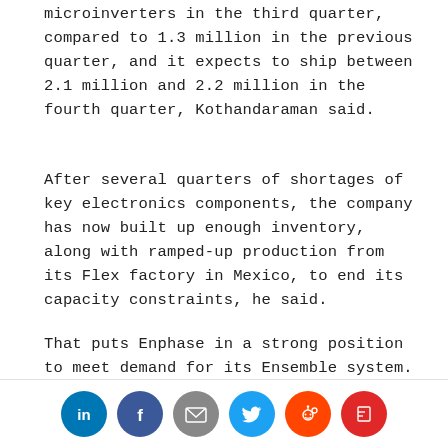microinverters in the third quarter, compared to 1.3 million in the previous quarter, and it expects to ship between 2.1 million and 2.2 million in the fourth quarter, Kothandaraman said.
After several quarters of shortages of key electronics components, the company has now built up enough inventory, along with ramped-up production from its Flex factory in Mexico, to end its capacity constraints, he said.
That puts Enphase in a strong position to meet demand for its Ensemble system. The long-promised combination of battery, inverter, related switchgear and controls, and cloud-based software is now being tested in select homes, Kothandaraman said.
[Figure (infographic): Social sharing icons row: LinkedIn (blue), Facebook (blue), Email (gray), Twitter (cyan/blue), Reddit (orange), Flipboard (red)]